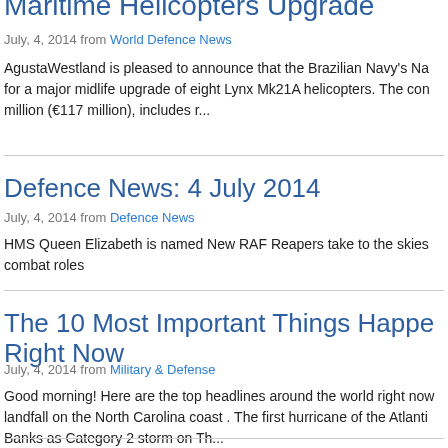Maritime Helicopters Upgrade
July, 4, 2014 from World Defence News
AgustaWestland is pleased to announce that the Brazilian Navy's Na for a major midlife upgrade of eight Lynx Mk21A helicopters. The con million (€117 million), includes r...
Defence News: 4 July 2014
July, 4, 2014 from Defence News
HMS Queen Elizabeth is named New RAF Reapers take to the skies combat roles
The 10 Most Important Things Happe Right Now
July, 4, 2014 from Military & Defense
Good morning! Here are the top headlines around the world right now landfall on the North Carolina coast . The first hurricane of the Atlanti Banks as Category 2 storm on Th...
Defence in the Media: 4 July 2014